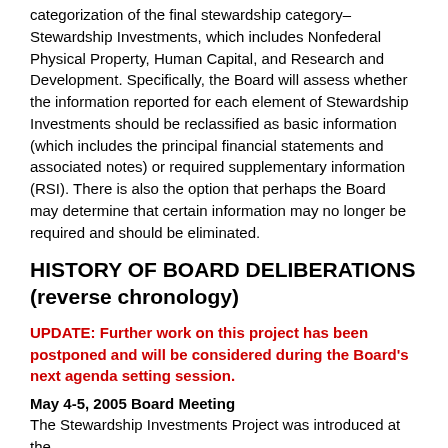categorization of the final stewardship category–Stewardship Investments, which includes Nonfederal Physical Property, Human Capital, and Research and Development. Specifically, the Board will assess whether the information reported for each element of Stewardship Investments should be reclassified as basic information (which includes the principal financial statements and associated notes) or required supplementary information (RSI). There is also the option that perhaps the Board may determine that certain information may no longer be required and should be eliminated.
HISTORY OF BOARD DELIBERATIONS (reverse chronology)
UPDATE: Further work on this project has been postponed and will be considered during the Board's next agenda setting session.
May 4-5, 2005 Board Meeting
The Stewardship Investments Project was introduced at the